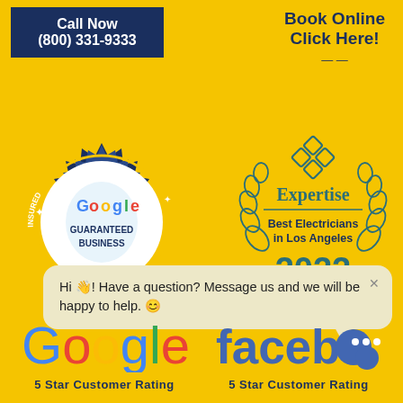Call Now
(800) 331-9333
Book Online
Click Here!
[Figure (illustration): Google Guaranteed Business badge — dark navy star-burst seal with LICENSED, PRE-SCREENED, INSURED text around edge, Google logo and GUARANTEED BUSINESS in center circle]
[Figure (illustration): Expertise Best Electricians in Los Angeles 2022 badge with laurel wreath and diamond logo]
Hi 👋! Have a question? Message us and we will be happy to help. 😊
[Figure (logo): Google logo in multicolor]
5 Star Customer Rating
[Figure (logo): Facebook logo in blue with chat bubble icon]
5 Star Customer Rating